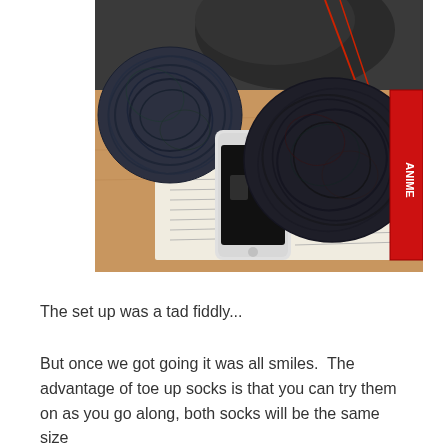[Figure (photo): Photo of two balls of dark variegated yarn (dark blue/green/red tones) and a smartphone placed on top of printed papers on a wooden table. A dark knitted fabric is visible in the background.]
The set up was a tad fiddly...
But once we got going it was all smiles.  The advantage of toe up socks is that you can try them on as you go along, both socks will be the same size